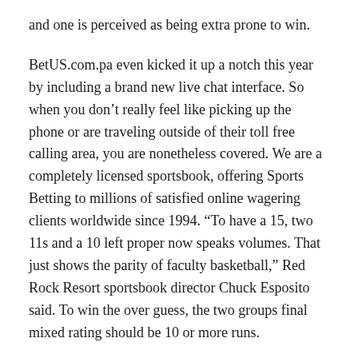and one is perceived as being extra prone to win.
BetUS.com.pa even kicked it up a notch this year by including a brand new live chat interface. So when you don’t really feel like picking up the phone or are traveling outside of their toll free calling area, you are nonetheless covered. We are a completely licensed sportsbook, offering Sports Betting to millions of satisfied online wagering clients worldwide since 1994. “To have a 15, two 11s and a 10 left proper now speaks volumes. That just shows the parity of faculty basketball,” Red Rock Resort sportsbook director Chuck Esposito said. To win the over guess, the two groups final mixed rating should be 10 or more runs.
The consensus bets on point unfold weekly and all the information in those are spectacular. MaximBet Play is your ticket to a victory with free predictor